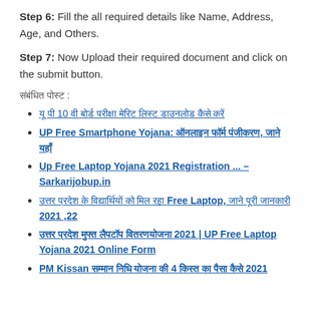Step 6: Fill the all required details like Name, Address, Age, and Others.
Step 7: Now Upload their required document and click on the submit button.
संबंधित पोस्ट :
यू पी 10 वी बोर्ड परीक्षा मेरिट लिस्ट डाउनलोड कैसे करें
UP Free Smartphone Yojana: ऑनलाइन फॉर्म पंजीकरण, जाने यहाँ
Up Free Laptop Yojana 2021 Registration ... – Sarkarijobup.in
उत्तर प्रदेश के विद्यार्थियों को मिल रहा Free Laptop, जाने पूरी जानकारी 2021 ,22
उत्तर प्रदेश मुफ्त लैपटॉप वितरणयोजना 2021 | UP Free Laptop Yojana 2021 Online Form
PM Kissan सम्मान निधि योजना की 4 किस्त का पैसा कैसे 2021